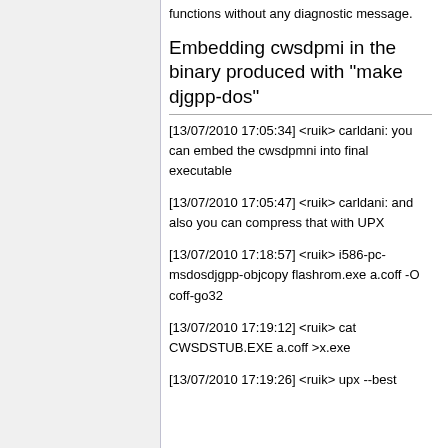functions without any diagnostic message.
Embedding cwsdpmi in the binary produced with "make djgpp-dos"
[13/07/2010 17:05:34] <ruik> carldani: you can embed the cwsdpmni into final executable
[13/07/2010 17:05:47] <ruik> carldani: and also you can compress that with UPX
[13/07/2010 17:18:57] <ruik> i586-pc-msdosdjgpp-objcopy flashrom.exe a.coff -O coff-go32
[13/07/2010 17:19:12] <ruik> cat CWSDSTUB.EXE a.coff >x.exe
[13/07/2010 17:19:26] <ruik> upx --best